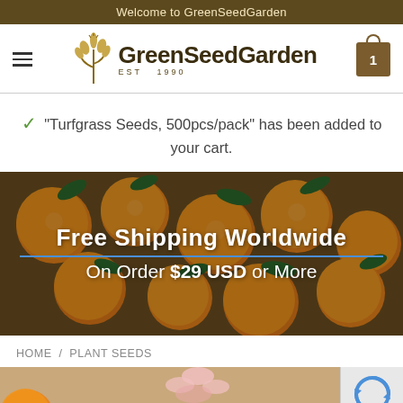Welcome to GreenSeedGarden
[Figure (logo): GreenSeedGarden logo with wheat/grain illustration and text EST 1990]
"Turfgrass Seeds, 500pcs/pack" has been added to your cart.
[Figure (photo): Banner showing oranges/kumquats on vine with text: Free Shipping Worldwide / On Order $29 USD or More]
HOME / PLANT SEEDS
[Figure (photo): Bottom partial image showing pink flower on tan/sandy background with captcha widget overlay on right]